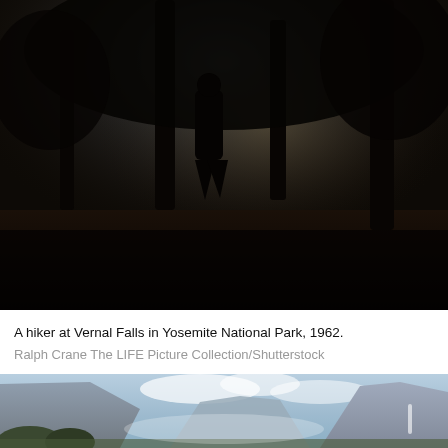[Figure (photo): A silhouetted hiker walking among large trees in a dark forest scene at Vernal Falls, Yosemite National Park, 1962. The image is dark with a figure in silhouette against dim light filtering through the tree canopy.]
A hiker at Vernal Falls in Yosemite National Park, 1962.
Ralph Crane The LIFE Picture Collection/Shutterstock
[Figure (photo): A panoramic view of Yosemite Valley showing El Capitan on the left, Half Dome in the center background, and Bridalveil Fall on the right, with green valley floor and blue sky with clouds.]